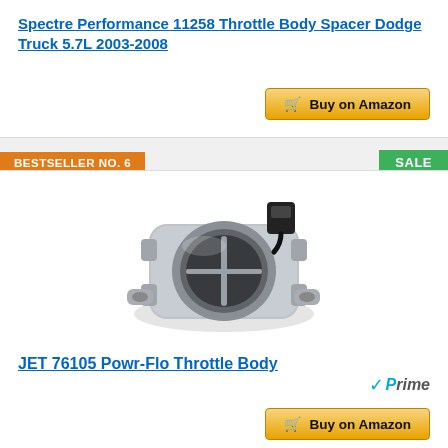Spectre Performance 11258 Throttle Body Spacer Dodge Truck 5.7L 2003-2008
[Figure (other): Buy on Amazon button for Spectre Performance product]
BESTSELLER NO. 6
SALE
[Figure (photo): Photo of JET 76105 Powr-Flo Throttle Body - a silver/aluminum throttle body assembly with connector]
JET 76105 Powr-Flo Throttle Body
[Figure (logo): Amazon Prime logo with checkmark]
[Figure (other): Buy on Amazon button for JET product]